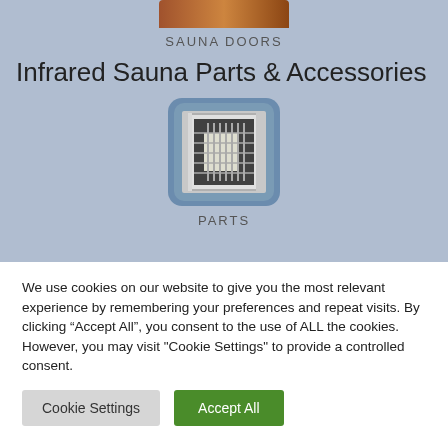[Figure (photo): Partial view of a sauna door image at the top, cropped]
SAUNA DOORS
Infrared Sauna Parts & Accessories
[Figure (photo): Photo of infrared sauna parts — metal door/grill components on blue background]
PARTS
We use cookies on our website to give you the most relevant experience by remembering your preferences and repeat visits. By clicking “Accept All”, you consent to the use of ALL the cookies. However, you may visit "Cookie Settings" to provide a controlled consent.
Cookie Settings | Accept All